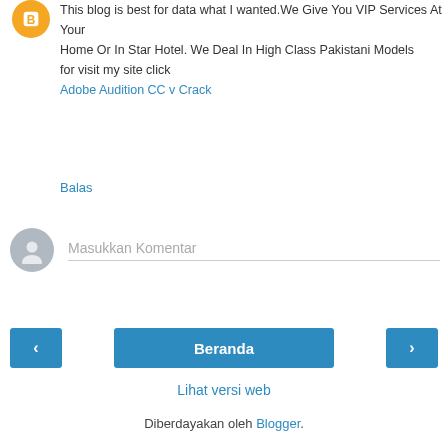[Figure (illustration): Orange circle avatar with Blogger 'B' icon]
This blog is best for data what I wanted.We Give You VIP Services At Your
Home Or In Star Hotel. We Deal In High Class Pakistani Models
for visit my site click
Adobe Audition CC v Crack
Balas
[Figure (illustration): Grey circle user avatar placeholder for comment input]
Masukkan Komentar
Beranda
Lihat versi web
Diberdayakan oleh Blogger.